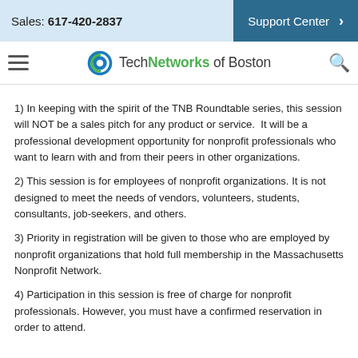Sales: 617-420-2837  |  Support Center
Tech Networks of Boston
1) In keeping with the spirit of the TNB Roundtable series, this session will NOT be a sales pitch for any product or service.  It will be a professional development opportunity for nonprofit professionals who want to learn with and from their peers in other organizations.
2) This session is for employees of nonprofit organizations. It is not designed to meet the needs of vendors, volunteers, students, consultants, job-seekers, and others.
3) Priority in registration will be given to those who are employed by nonprofit organizations that hold full membership in the Massachusetts Nonprofit Network.
4) Participation in this session is free of charge for nonprofit professionals. However, you must have a confirmed reservation in order to attend.